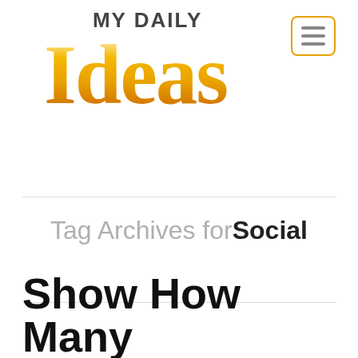[Figure (logo): My Daily Ideas logo — 'MY DAILY' in dark bold text above large golden italic 'Ideas' text]
[Figure (other): Hamburger menu button with orange border and three horizontal bars]
Tag Archives for Social
Show How Many